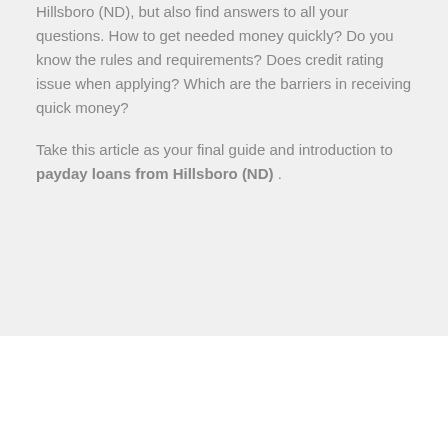Hillsboro (ND), but also find answers to all your questions. How to get needed money quickly? Do you know the rules and requirements? Does credit rating issue when applying? Which are the barriers in receiving quick money?
Take this article as your final guide and introduction to payday loans from Hillsboro (ND) .
[Figure (logo): Inc. logo in large light blue bold text]